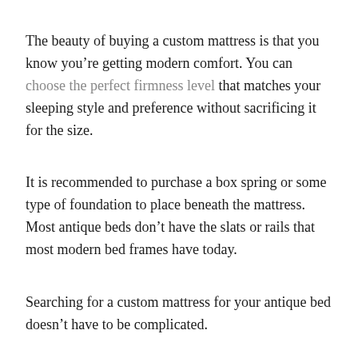The beauty of buying a custom mattress is that you know you're getting modern comfort. You can choose the perfect firmness level that matches your sleeping style and preference without sacrificing it for the size.
It is recommended to purchase a box spring or some type of foundation to place beneath the mattress. Most antique beds don't have the slats or rails that most modern bed frames have today.
Searching for a custom mattress for your antique bed doesn't have to be complicated.